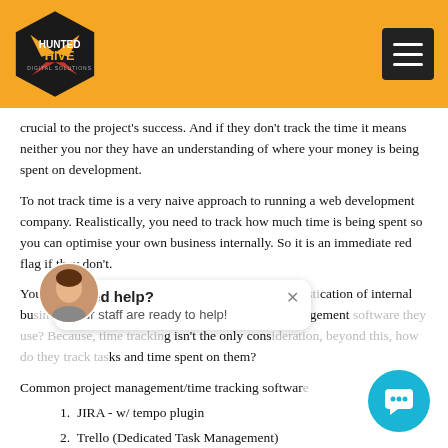[Figure (logo): Hunted Hive Digital Solutions logo on orange header background with hamburger menu icon]
crucial to the project's success. And if they don't track the time it means neither you nor they have an understanding of where your money is being spent on development.
To not track time is a very naive approach to running a web development company. Realistically, you need to track how much time is being spent so you can optimise your own business internally. So it is an immediate red flag if they don't.
You can very easily figure out the level of their sophistication of internal business processes by asking them what project management software they use? Because, time tracking isn't the only consideration, beyond this, how do they track tasks and time spent on them?
Common project management/time tracking software
JIRA - w/ tempo plugin
Trello (Dedicated Task Management)